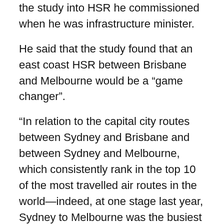the study into HSR he commissioned when he was infrastructure minister.
He said that the study found that an east coast HSR between Brisbane and Melbourne would be a “game changer”.
“In relation to the capital city routes between Sydney and Brisbane and between Sydney and Melbourne, which consistently rank in the top 10 of the most travelled air routes in the world—indeed, at one stage last year, Sydney to Melbourne was the busiest air route in the world—it would put those great cities under three hours away from each other”, Mr Albanese said.
“This is truly a nation-building project. It was found that, between Sydney and Melbourne, there would be a $2.15 benefit for every dollar invested.”